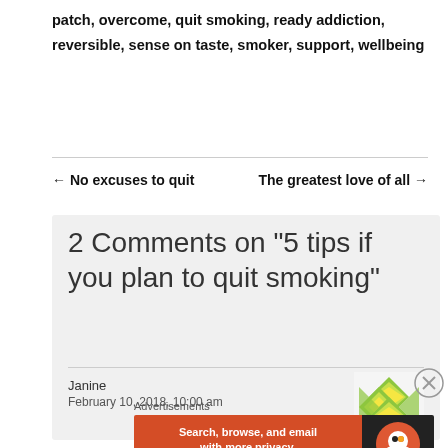patch, overcome, quit smoking, ready addiction, reversible, sense on taste, smoker, support, wellbeing
← No excuses to quit
The greatest love of all →
2 Comments on “5 tips if you plan to quit smoking”
Janine
February 10, 2018, 10:00 am
[Figure (other): Green and yellow geometric avatar icon for commenter Janine]
[Figure (other): Close/dismiss button (circled X icon)]
Advertisements
[Figure (other): DuckDuckGo advertisement banner: 'Search, browse, and email with more privacy. All in One Free App' with DuckDuckGo logo on dark background]